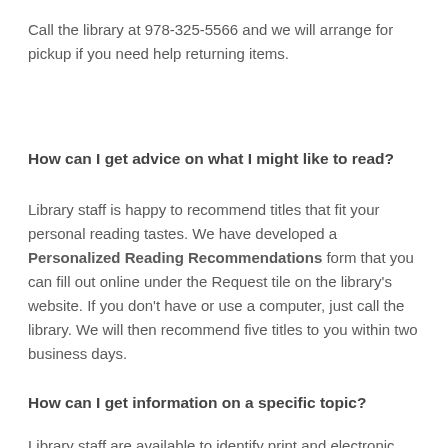Call the library at 978-325-5566 and we will arrange for pickup if you need help returning items.
How can I get advice on what I might like to read?
Library staff is happy to recommend titles that fit your personal reading tastes.  We have developed a Personalized Reading Recommendations form that you can fill out online under the Request tile on the library's website.  If you don't have or use a computer, just call the library.  We will then recommend five titles to you within two business days.
How can I get information on a specific topic?
Library staff are available to identify print and electronic sources to